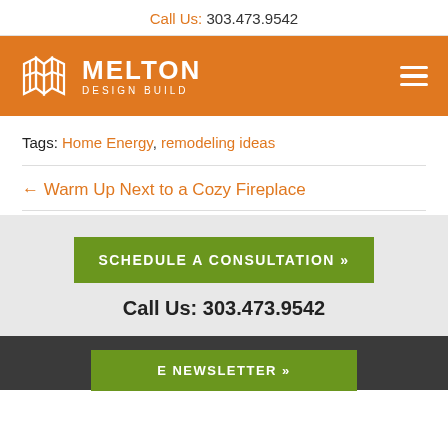Call Us: 303.473.9542
[Figure (logo): Melton Design Build logo with orange background and hamburger menu icon]
Tags: Home Energy, remodeling ideas
← Warm Up Next to a Cozy Fireplace
SCHEDULE A CONSULTATION »
Call Us: 303.473.9542
E NEWSLETTER »